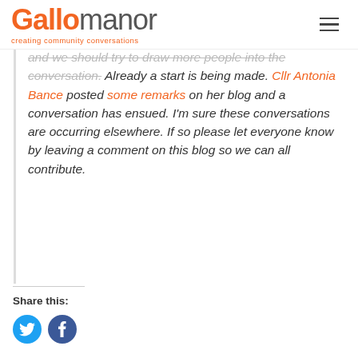Gallomanor – creating community conversations
and we should try to draw more people into the conversation. Already a start is being made. Cllr Antonia Bance posted some remarks on her blog and a conversation has ensued. I'm sure these conversations are occurring elsewhere. If so please let everyone know by leaving a comment on this blog so we can all contribute.
Share this: